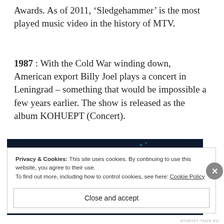Awards. As of 2011, 'Sledgehammer' is the most played music video in the history of MTV.
1987 : With the Cold War winding down, American export Billy Joel plays a concert in Leningrad – something that would be impossible a few years earlier. The show is released as the album KOHUEPT (Concert).
[Figure (screenshot): Dark image area with dots and CROWD logo/text visible on right side]
Privacy & Cookies: This site uses cookies. By continuing to use this website, you agree to their use.
To find out more, including how to control cookies, see here: Cookie Policy
Close and accept